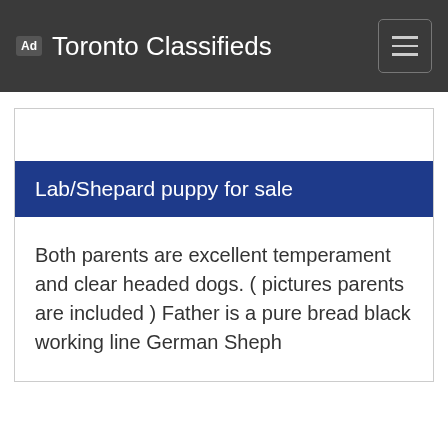Ad Toronto Classifieds
Lab/Shepard puppy for sale
Both parents are excellent temperament and clear headed dogs. ( pictures parents are included ) Father is a pure bread black working line German Sheph